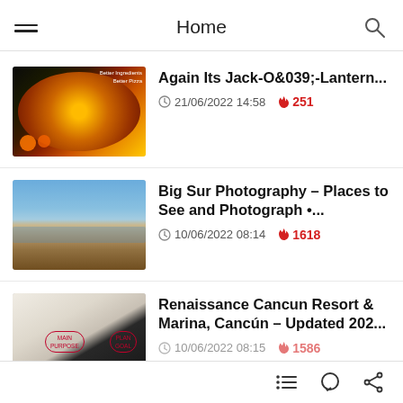Home
Again Its Jack-O&039;-Lantern... | 21/06/2022 14:58 | 251
Big Sur Photography – Places to See and Photograph •... | 10/06/2022 08:14 | 1618
Renaissance Cancun Resort & Marina, Cancún – Updated 202... | 10/06/2022 08:15 | 1586
navigation icons: list, comment, share